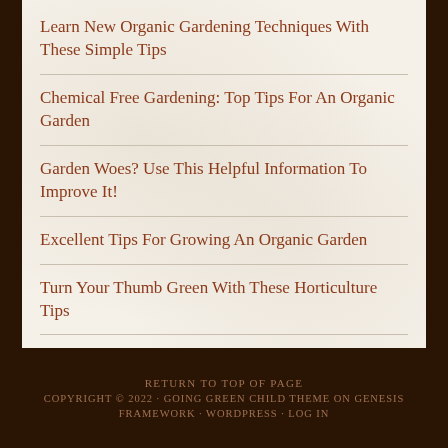Learn New Organic Gardening Techniques With These Simple Tips
Chemical Free Gardening: Top Tips For An Organic Garden
Garden Woes? Use This Helpful Information To Improve It!
Excellent Tips For Growing An Organic Garden
Turn Your Thumb Green With These Horticulture Tips
Tips To Help You Succeed With Organic Gardening
Make Your Garden Organic With These Top Tips
How To Grow An Organic Garden As A Part Of A Healthy Lifestyle
RETURN TO TOP OF PAGE · COPYRIGHT © 2022 · GOING GREEN CHILD THEME ON GENESIS FRAMEWORK · WORDPRESS · LOG IN